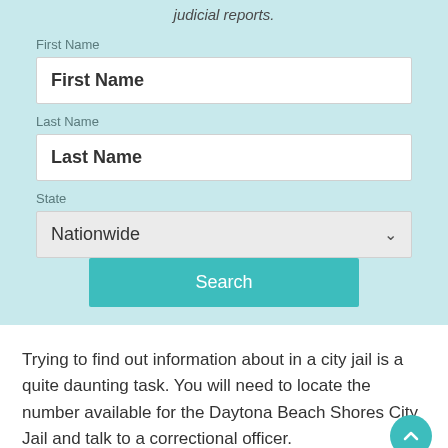judicial reports.
First Name
First Name
Last Name
Last Name
State
Nationwide
Search
Trying to find out information about in a city jail is a quite daunting task. You will need to locate the number available for the Daytona Beach Shores City Jail and talk to a correctional officer.
The correctional officer will be able to give out the basic